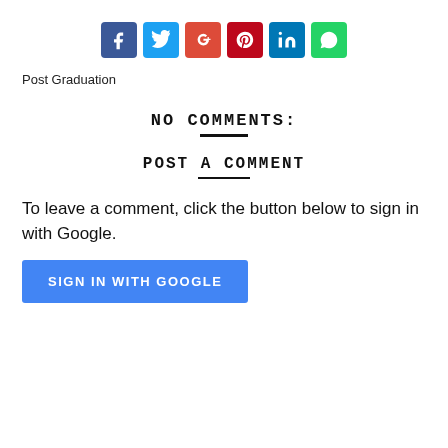[Figure (other): Social media share buttons: Facebook (blue), Twitter (light blue), Google+ (red-orange), Pinterest (red), LinkedIn (blue), WhatsApp (green)]
Post Graduation
NO COMMENTS:
POST A COMMENT
To leave a comment, click the button below to sign in with Google.
SIGN IN WITH GOOGLE